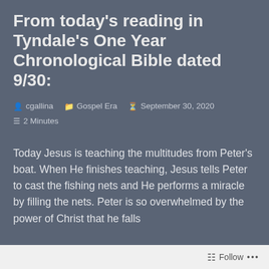From today's reading in Tyndale's One Year Chronological Bible dated 9/30:
cgallina   Gospel Era   September 30, 2020   2 Minutes
Today Jesus is teaching the multitudes from Peter's boat. When He finishes teaching, Jesus tells Peter to cast the fishing nets and He performs a miracle by filling the nets. Peter is so overwhelmed by the power of Christ that he falls
Follow